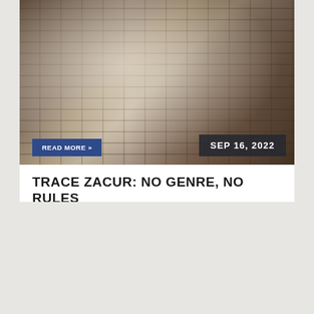[Figure (photo): Black and white photo of a saxophone player in a white shirt against a brick wall background. The image is partially blurred/motion-blurred showing the musician and instrument.]
TRACE ZACUR: NO GENRE, NO RULES
SIDE DOOR